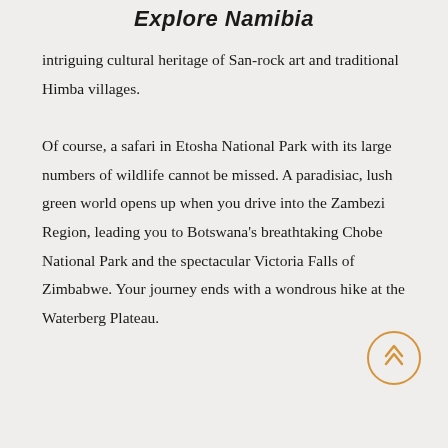Explore Namibia
intriguing cultural heritage of San-rock art and traditional Himba villages.

Of course, a safari in Etosha National Park with its large numbers of wildlife cannot be missed. A paradisiac, lush green world opens up when you drive into the Zambezi Region, leading you to Botswana's breathtaking Chobe National Park and the spectacular Victoria Falls of Zimbabwe. Your journey ends with a wondrous hike at the Waterberg Plateau.